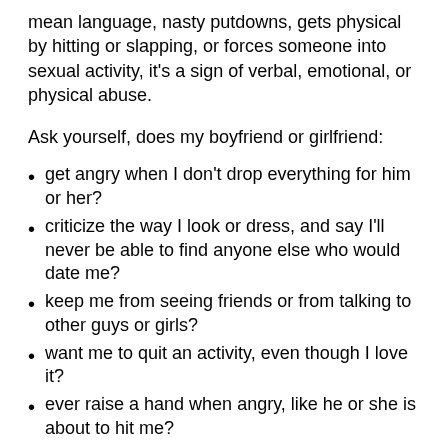mean language, nasty putdowns, gets physical by hitting or slapping, or forces someone into sexual activity, it's a sign of verbal, emotional, or physical abuse.
Ask yourself, does my boyfriend or girlfriend:
get angry when I don't drop everything for him or her?
criticize the way I look or dress, and say I'll never be able to find anyone else who would date me?
keep me from seeing friends or from talking to other guys or girls?
want me to quit an activity, even though I love it?
ever raise a hand when angry, like he or she is about to hit me?
try to force me to go further sexually than I want to?